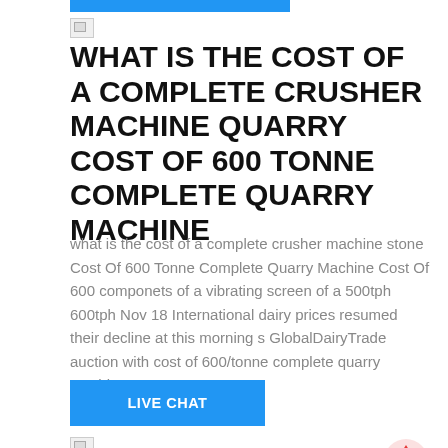[Figure (other): Blue horizontal bar at top of page]
[Figure (other): Broken/placeholder image icon]
WHAT IS THE COST OF A COMPLETE CRUSHER MACHINE QUARRY COST OF 600 TONNE COMPLETE QUARRY MACHINE
what is the cost of a complete crusher machine stone Cost Of 600 Tonne Complete Quarry Machine Cost Of 600 componets of a vibrating screen of a 500tph 600tph Nov 18 International dairy prices resumed their decline at this morning s GlobalDairyTrade auction with cost of 600/tonne complete quarry machine
[Figure (other): Blue LIVE CHAT button]
[Figure (other): Broken/placeholder image icon]
COST OF 600TPH GRAVEL CRUSHER PLANT COST OF TPH QUARRY MACHINE
[Figure (other): Red upward arrow icon (scroll to top)]